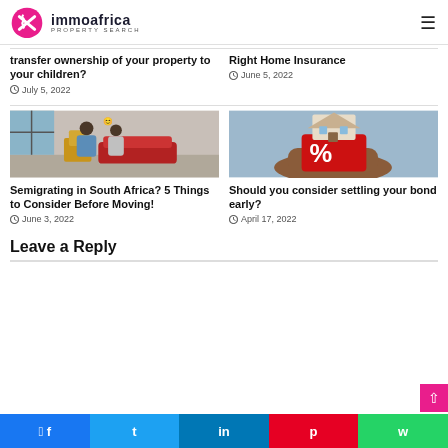immoafrica PROPERTY SEARCH
transfer ownership of your property to your children?
July 5, 2022
Right Home Insurance
June 5, 2022
[Figure (photo): Happy couple carrying moving boxes in a living room]
[Figure (photo): Hand holding a red cube with percent sign and a house model on top]
Semigrating in South Africa? 5 Things to Consider Before Moving!
June 3, 2022
Should you consider settling your bond early?
April 17, 2022
Leave a Reply